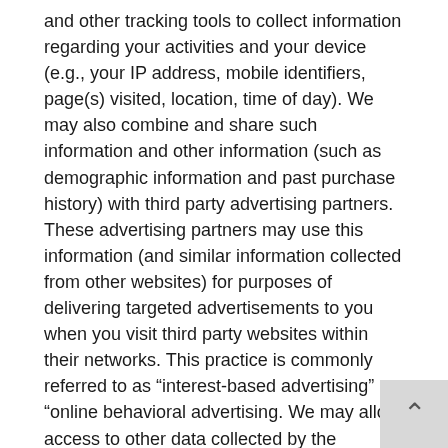and other tracking tools to collect information regarding your activities and your device (e.g., your IP address, mobile identifiers, page(s) visited, location, time of day). We may also combine and share such information and other information (such as demographic information and past purchase history) with third party advertising partners. These advertising partners may use this information (and similar information collected from other websites) for purposes of delivering targeted advertisements to you when you visit third party websites within their networks. This practice is commonly referred to as “interest-based advertising” or “online behavioral advertising. We may allow access to other data collected by the Services to share information that may be useful, relevant, valuable or otherwise of interest to you. If you prefer not to share your personal information with third party advertising partners, you may follow the instru below.